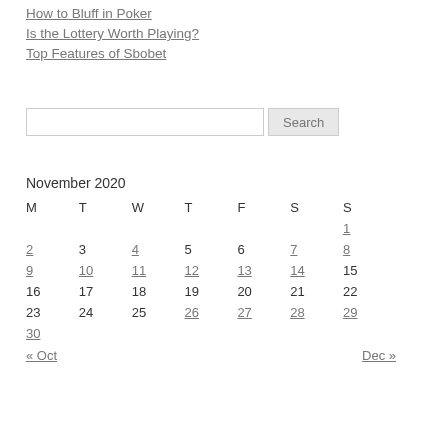How to Bluff in Poker
Is the Lottery Worth Playing?
Top Features of Sbobet
November 2020
| M | T | W | T | F | S | S |
| --- | --- | --- | --- | --- | --- | --- |
|  |  |  |  |  |  | 1 |
| 2 | 3 | 4 | 5 | 6 | 7 | 8 |
| 9 | 10 | 11 | 12 | 13 | 14 | 15 |
| 16 | 17 | 18 | 19 | 20 | 21 | 22 |
| 23 | 24 | 25 | 26 | 27 | 28 | 29 |
| 30 |  |  |  |  |  |  |
« Oct    Dec »